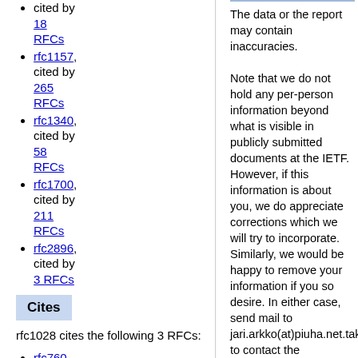rfc1157, cited by 265 RFCs
rfc1340, cited by 58 RFCs
rfc1700, cited by 211 RFCs
rfc2896, cited by 3 RFCs
Cites
rfc1028 cites the following 3 RFCs:
rfc760, cited by
The data or the report may contain inaccuracies.

Note that we do not hold any per-person information beyond what is visible in publicly submitted documents at the IETF. However, if this information is about you, we do appreciate corrections which we will try to incorporate. Similarly, we would be happy to remove your information if you so desire. In either case, send mail to jari.arkko(at)piuha.net.takeaway to contact the developer. Please use a subject line that includes the word authorstats. Our privacy policy can be found in here.